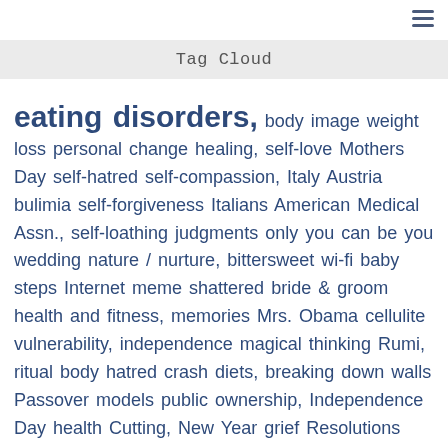Tag Cloud
[Figure (infographic): Tag cloud listing various health and wellness related topics in varying font sizes. Largest tags: 'eating disorders,' in very large bold text. Other tags include: body image, weight loss, personal change, healing, self-love, Mothers Day, self-hatred, self-compassion, Italy, Austria, bulimia, self-forgiveness, Italians, American Medical Assn., self-loathing, judgments, only you can be you, wedding, nature / nurture, bittersweet, wi-fi, baby steps, Internet meme, shattered, bride & groom, health and fitness, memories, Mrs. Obama, cellulite, vulnerability, independence, magical thinking, Rumi, ritual, body hatred, crash diets, breaking down walls, Passover, models, public ownership, Independence Day, health, Cutting, New Year, grief, Resolutions, Easter, workplace wellness, body acceptance, intersectionality, social media, International No Diet Day, 4-wheel drive, Alzheimers, privacy, Eating Disorders Awareness Month, Spring, Labor Day, dysfunctional family, queer body love, NEDAW, recovery, self-acceptance, fat talk, metaphors, love lessons]